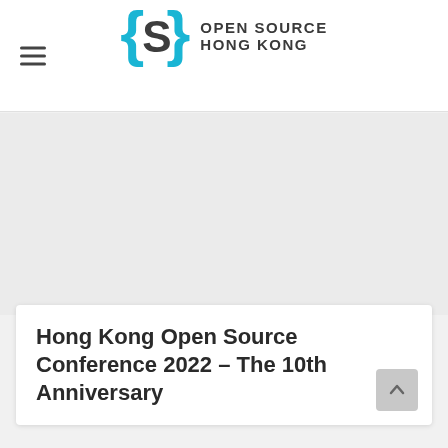Open Source Hong Kong
[Figure (logo): Open Source Hong Kong logo: cyan curly braces with the letter S inside, followed by bold text 'OPEN SOURCE HONG KONG' in dark gray on two lines]
[Figure (other): Large gray placeholder/advertisement area]
Hong Kong Open Source Conference 2022 – The 10th Anniversary